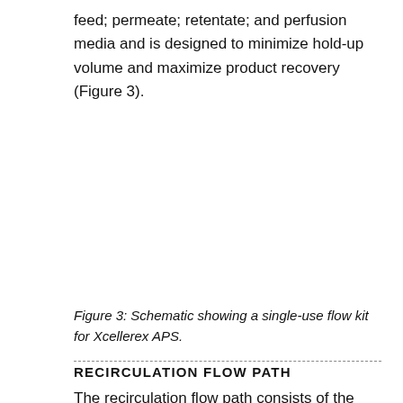feed; permeate; retentate; and perfusion media and is designed to minimize hold-up volume and maximize product recovery (Figure 3).
[Figure (schematic): Blank white area representing a schematic figure (Figure 3) showing a single-use flow kit for Xcellerex APS.]
Figure 3: Schematic showing a single-use flow kit for Xcellerex APS.
RECIRCULATION FLOW PATH
The recirculation flow path consists of the